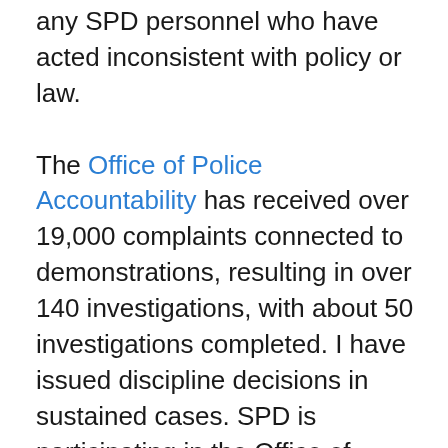any SPD personnel who have acted inconsistent with policy or law.

The Office of Police Accountability has received over 19,000 complaints connected to demonstrations, resulting in over 140 investigations, with about 50 investigations completed. I have issued discipline decisions in sustained cases. SPD is participating in the Office of Inspector General's Sentinel Event Review. From OPA's reviews of incidents and the OIG's holistic evaluation, SPD welcomes recommendations to further inform SPD's policies and training. The Community Police Commission, tasked by the 2017 Accountability Ordinance to engage and coordinate the voices